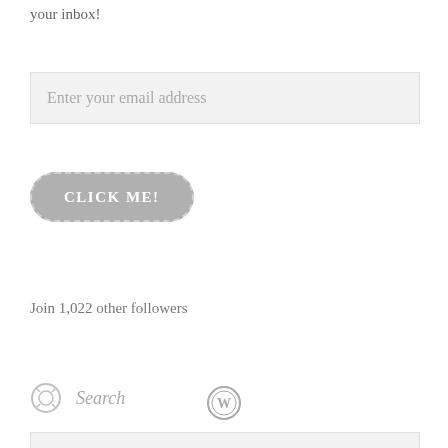your inbox!
[Figure (other): Email address input field with placeholder text 'Enter your email address']
[Figure (other): Button with dashed rounded border and text 'CLICK ME!']
Join 1,022 other followers
Search
[Figure (other): Search input field with placeholder text 'Search ...']
[Figure (logo): WordPress logo icon at bottom center of page]